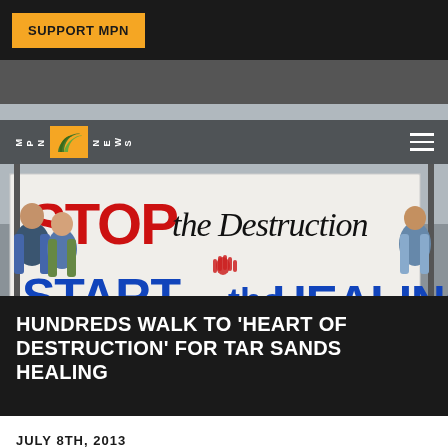SUPPORT MPN
[Figure (photo): Protest photo showing people holding a large banner reading 'STOP the Destruction START the HEALING' with a red handprint in the center. People stand on either side of the banner on a dirt ground outdoors.]
HUNDREDS WALK TO 'HEART OF DESTRUCTION' FOR TAR SANDS HEALING
JULY 8TH, 2013